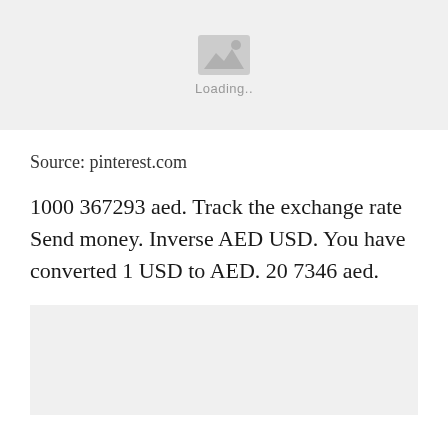[Figure (other): Image placeholder with loading icon and 'Loading..' text]
Source: pinterest.com
1000 367293 aed. Track the exchange rate Send money. Inverse AED USD. You have converted 1 USD to AED. 20 7346 aed.
[Figure (other): Image placeholder (bottom, partially visible)]